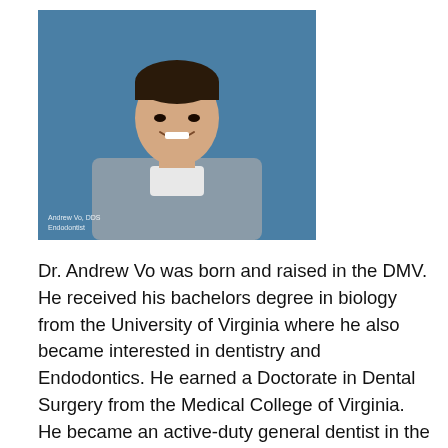[Figure (photo): Professional headshot of Dr. Andrew Vo, DDS, wearing grey scrubs against a blue background. Name label visible at lower left.]
Dr. Andrew Vo was born and raised in the DMV. He received his bachelors degree in biology from the University of Virginia where he also became interested in dentistry and Endodontics. He earned a Doctorate in Dental Surgery from the Medical College of Virginia. He became an active-duty general dentist in the United States Air Force where he completed an Advanced Education in General Dentistry and was the top resident in Endodontics. At his first duty station, he revitalized the endodontic supplies and protocols. He went on to complete his endodontic specialty training at Albert Einstein Medical Center in Philadelphia, PA, renowned for its strong clinical training, nationally/internationally